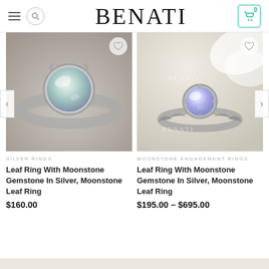BENATI
[Figure (photo): Close-up photo of a silver leaf ring with a round moonstone gemstone, ornate leaf band design on blurred background]
[Figure (photo): Photo of a silver leaf ring with round moonstone gemstone, ornate leaf and floral band design on sandy/beige background with BENATI watermark]
SILVER RINGS
Leaf Ring With Moonstone Gemstone In Silver, Moonstone Leaf Ring
$160.00
MOONSTONE ENGAGEMENT RINGS
Leaf Ring With Moonstone Gemstone In Silver, Moonstone Leaf Ring
$195.00 – $695.00